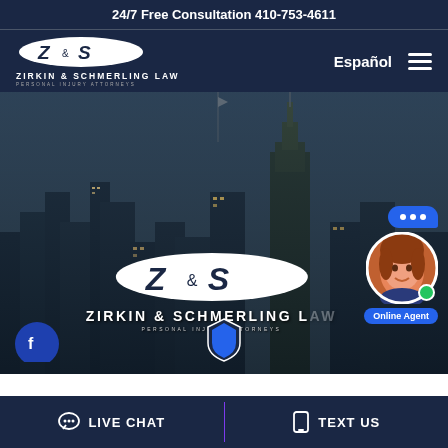24/7 Free Consultation 410-753-4611
[Figure (logo): Zirkin & Schmerling Law logo with oval Z&S mark and text PERSONAL INJURY ATTORNEYS on dark navy background navigation bar with Español link and hamburger menu]
[Figure (photo): City skyline hero image showing Baltimore buildings at dusk with Zirkin & Schmerling Law logo overlay and PERSONAL INJURY ATTORNEYS tagline, plus live chat agent widget in bottom right]
LIVE CHAT   TEXT US